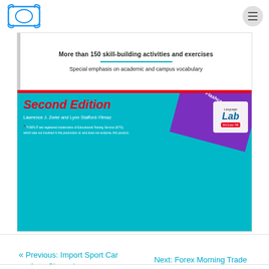[Figure (logo): Decorative scroll/book logo in blue outline style]
[Figure (photo): Book cover for TOEFL vocabulary Second Edition by Lawrence J. Zwier and Lynn Stafford-Yilmaz, McGraw-Hill, with teal and red design, purple FREE Flashcard App banner, Language Lab badge. Text includes: More than 150 skill-building activities and exercises; Special emphasis on academic and campus vocabulary; Second Edition; Lawrence J. Zwier and Lynn Stafford-Yilmaz; TOEFL disclaimer footnote.]
« Previous: Import Sport Car Auto Cheap Insurance Interrelated Guideline
Next: Forex Morning Trade Plan »